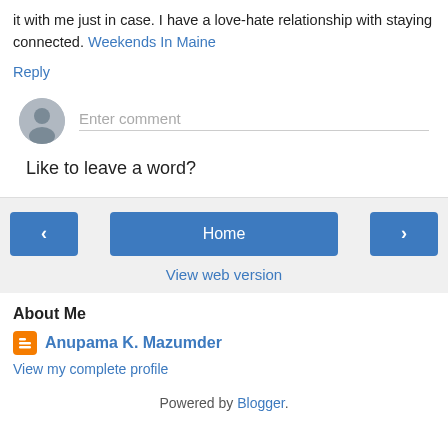it with me just in case. I have a love-hate relationship with staying connected. Weekends In Maine
Reply
Enter comment
Like to leave a word?
‹
Home
›
View web version
About Me
Anupama K. Mazumder
View my complete profile
Powered by Blogger.